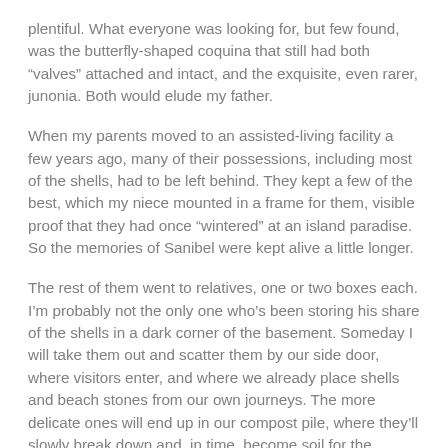plentiful. What everyone was looking for, but few found, was the butterfly-shaped coquina that still had both “valves” attached and intact, and the exquisite, even rarer, junonia. Both would elude my father.
When my parents moved to an assisted-living facility a few years ago, many of their possessions, including most of the shells, had to be left behind. They kept a few of the best, which my niece mounted in a frame for them, visible proof that they had once “wintered” at an island paradise. So the memories of Sanibel were kept alive a little longer.
The rest of them went to relatives, one or two boxes each. I’m probably not the only one who’s been storing his share of the shells in a dark corner of the basement. Someday I will take them out and scatter them by our side door, where visitors enter, and where we already place shells and beach stones from our own journeys. The more delicate ones will end up in our compost pile, where they’ll slowly break down and, in time, become soil for the gardens that we, or others, will make.